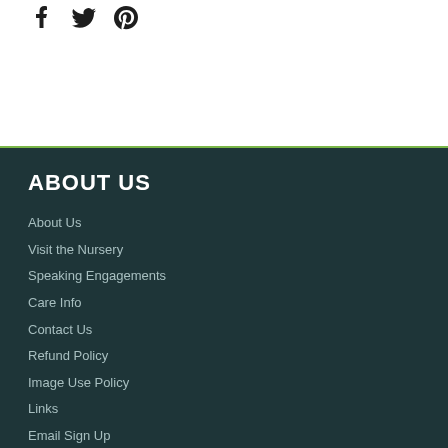[Figure (other): Social media icons: Facebook, Twitter, Pinterest]
ABOUT US
About Us
Visit the Nursery
Speaking Engagements
Care Info
Contact Us
Refund Policy
Image Use Policy
Links
Email Sign Up